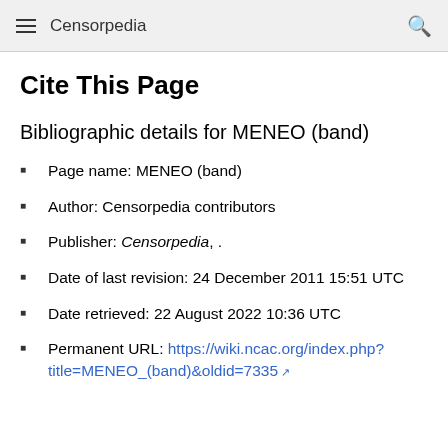Censorpedia
Cite This Page
Bibliographic details for MENEO (band)
Page name: MENEO (band)
Author: Censorpedia contributors
Publisher: Censorpedia, .
Date of last revision: 24 December 2011 15:51 UTC
Date retrieved: 22 August 2022 10:36 UTC
Permanent URL: https://wiki.ncac.org/index.php?title=MENEO_(band)&oldid=7335